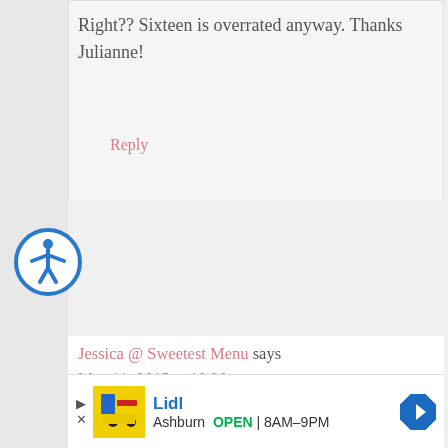Right?? Sixteen is overrated anyway. Thanks Julianne!
Reply
[Figure (illustration): Accessibility icon — blue circle with white figure of a person with arms outstretched]
Jessica @ Sweetest Menu says
May 11, 2015 at 10:20 pm
No kidding! This sure looks 10/10 to me! YUM!
[Figure (screenshot): Lidl advertisement bar: Lidl logo, text 'Lidl', 'Ashburn OPEN 8AM–9PM', navigation arrow icon]